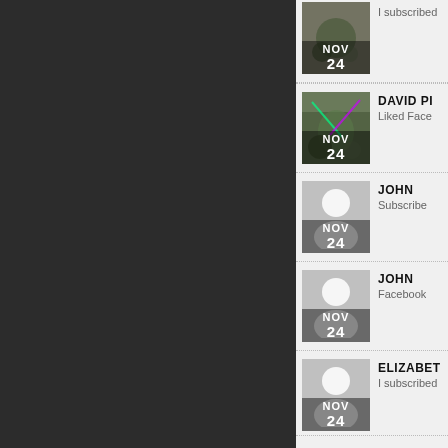NOV 24 — I subscribed
DAVID PI — NOV 24 — Liked Face
JOHN — NOV 24 — Subscribed
JOHN — NOV 24 — Facebook
ELIZABET — NOV 24 — I subscribed